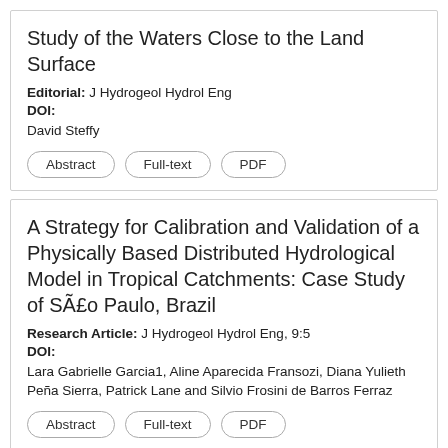Study of the Waters Close to the Land Surface
Editorial: J Hydrogeol Hydrol Eng
DOI:
David Steffy
A Strategy for Calibration and Validation of a Physically Based Distributed Hydrological Model in Tropical Catchments: Case Study of SÃ£o Paulo, Brazil
Research Article: J Hydrogeol Hydrol Eng, 9:5
DOI:
Lara Gabrielle Garcia1, Aline Aparecida Fransozi, Diana Yulieth Peña Sierra, Patrick Lane and Silvio Frosini de Barros Ferraz
Managing a Downpour: On Hyderabad Floods
Commentary: J Hydrogeol Hydrol Eng, 9:5
DOI: